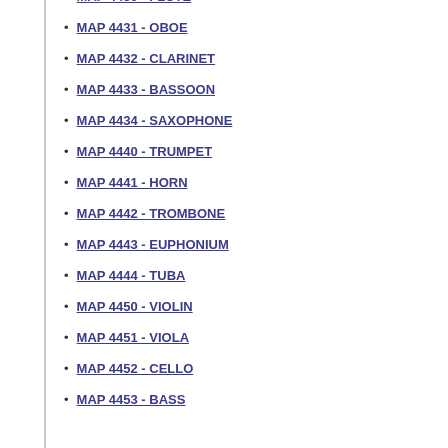MAP 4430 - FLUTE
MAP 4431 - OBOE
MAP 4432 - CLARINET
MAP 4433 - BASSOON
MAP 4434 - SAXOPHONE
MAP 4440 - TRUMPET
MAP 4441 - HORN
MAP 4442 - TROMBONE
MAP 4443 - EUPHONIUM
MAP 4444 - TUBA
MAP 4450 - VIOLIN
MAP 4451 - VIOLA
MAP 4452 - CELLO
MAP 4453 - BASS